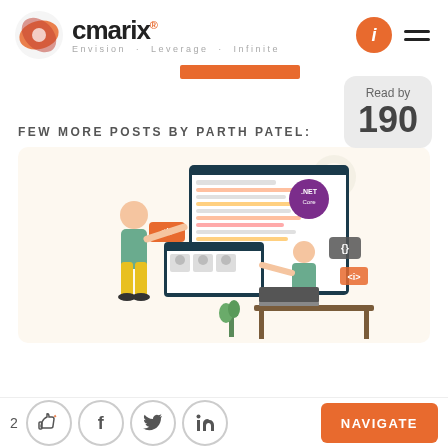cmarix® — Envision · Leverage · Infinite
Read by 190
FEW MORE POSTS BY PARTH PATEL:
[Figure (illustration): Two developers working on .NET Core development — one standing pointing at a large browser window with code, one sitting at a laptop. UI mockup windows and code tags visible.]
2  [like] [facebook] [twitter] [linkedin]  NAVIGATE